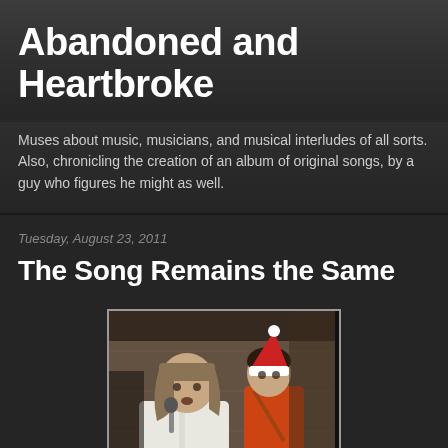Abandoned and Heartbroke
Muses about music, musicians, and musical interludes of all sorts. Also, chronicling the creation of an album of original songs, by a guy who figures he might as well.
Tuesday, August 23, 2011
The Song Remains the Same
[Figure (photo): Two young men performing at what appears to be a Christmas or holiday event. The person in the foreground has shoulder-length hair and is wearing a white shirt, singing into a microphone. The person in the background is wearing a Santa hat and an orange/red outfit, playing guitar.]